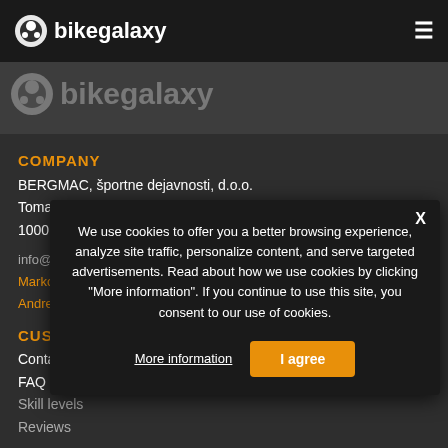bikegalaxy
[Figure (logo): Faded bikegalaxy logo in header banner]
COMPANY
BERGMAC, športne dejavnosti, d.o.o.
Tomačevo 30A
1000 Ljubljana
info@bikegalaxy.si
Marko: +386 68 147 467
Andrei: +386 51 680 990
CUSTOMER SERVICE
Contact us
FAQ
Skill levels
Reviews
We use cookies to offer you a better browsing experience, analyze site traffic, personalize content, and serve targeted advertisements. Read about how we use cookies by clicking "More information". If you continue to use this site, you consent to our use of cookies.